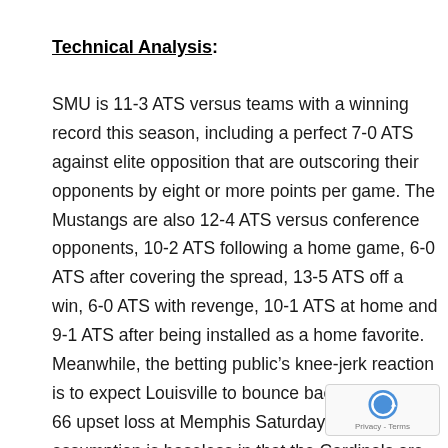Technical Analysis:
SMU is 11-3 ATS versus teams with a winning record this season, including a perfect 7-0 ATS against elite opposition that are outscoring their opponents by eight or more points per game. The Mustangs are also 12-4 ATS versus conference opponents, 10-2 ATS following a home game, 6-0 ATS after covering the spread, 13-5 ATS off a win, 6-0 ATS with revenge, 10-1 ATS at home and 9-1 ATS after being installed as a home favorite. Meanwhile, the betting public's knee-jerk reaction is to expect Louisville to bounce back from its 72-66 upset loss at Memphis Saturday, but that assumption is baseless in that the Cardinals are 0-6 ATS off an upset loss to a conference opponent and 2-7 ATS in the nine games following a loss. With SMU standing